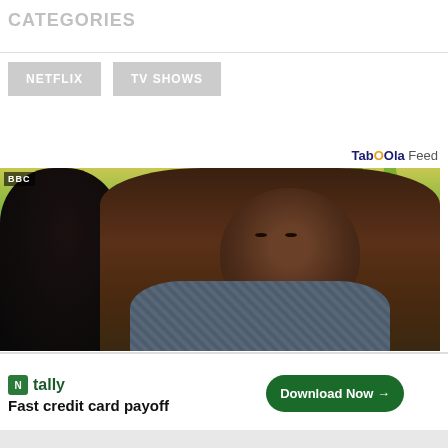CATEGORIES
NETFLIX
TV SHOWS
Taboola Feed
[Figure (photo): BBC TV show still — two people in conversation, tropical outdoor setting with palm trees in background. One person facing away, one man in patterned shirt with a stern expression.]
[Figure (infographic): Tally advertisement banner: 'Fast credit card payoff' with Download Now button and close/info icons]